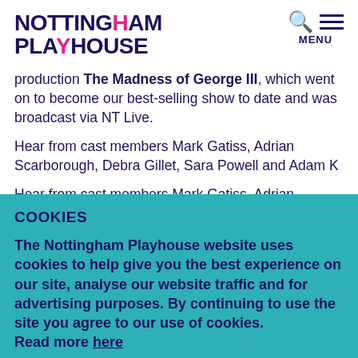[Figure (logo): Nottingham Playhouse logo with search and menu icons]
production The Madness of George III, which went on to become our best-selling show to date and was broadcast via NT Live.
Hear from cast members Mark Gatiss, Adrian Scarborough, Debra Gillet, Sara Powell and Adam K... [truncated by overlay]
COOKIES
The Nottingham Playhouse website uses cookies to help give you the best experience on our site, analyse our website traffic and for advertising purposes. By continuing to use the site you agree to our use of cookies.
Read more here